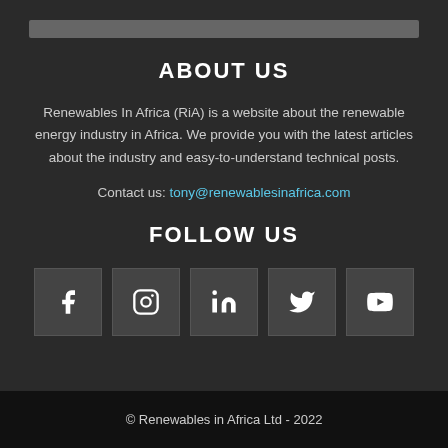[Figure (other): Partial image/logo bar at top]
ABOUT US
Renewables In Africa (RiA) is a website about the renewable energy industry in Africa. We provide you with the latest articles about the industry and easy-to-understand technical posts.
Contact us: tony@renewablesinafrica.com
FOLLOW US
[Figure (other): Social media icons: Facebook, Instagram, LinkedIn, Twitter, YouTube]
© Renewables in Africa Ltd - 2022